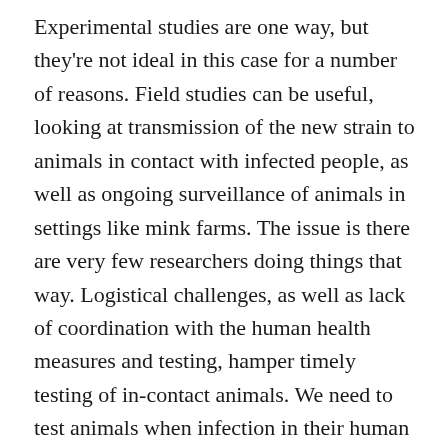Experimental studies are one way, but they're not ideal in this case for a number of reasons. Field studies can be useful, looking at transmission of the new strain to animals in contact with infected people, as well as ongoing surveillance of animals in settings like mink farms. The issue is there are very few researchers doing things that way. Logistical challenges, as well as lack of coordination with the human health measures and testing, hamper timely testing of in-contact animals. We need to test animals when infection in their human contacts is first detected if we want to recover virus from them. Cooperation of local and provincial health authorities has been a challenge here, an understandable one though given the stress the system is under trying to manage the pandemic. It's another example of why